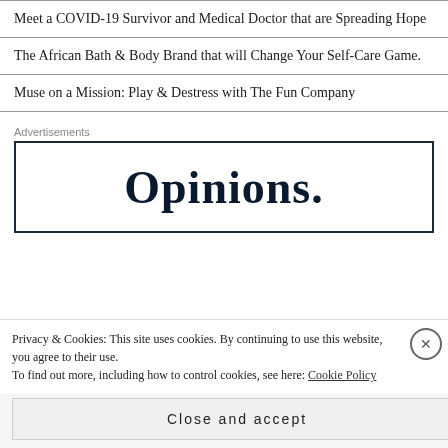Meet a COVID-19 Survivor and Medical Doctor that are Spreading Hope
The African Bath & Body Brand that will Change Your Self-Care Game.
Muse on a Mission: Play & Destress with The Fun Company
Advertisements
[Figure (other): Advertisement box containing the word 'Opinions.' in large serif font]
Privacy & Cookies: This site uses cookies. By continuing to use this website, you agree to their use.
To find out more, including how to control cookies, see here: Cookie Policy
Close and accept